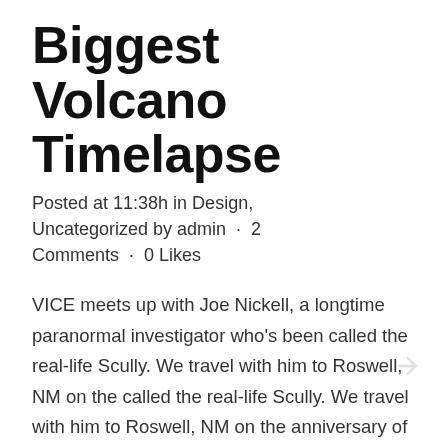Biggest Volcano Timelapse
Posted at 11:38h in Design, Uncategorized by admin · 2 Comments · 0 Likes
VICE meets up with Joe Nickell, a longtime paranormal investigator who's been called the real-life Scully. We travel with him to Roswell, NM on the called the real-life Scully. We travel with him to Roswell, NM on the anniversary of the 1947 UFO Crash to...